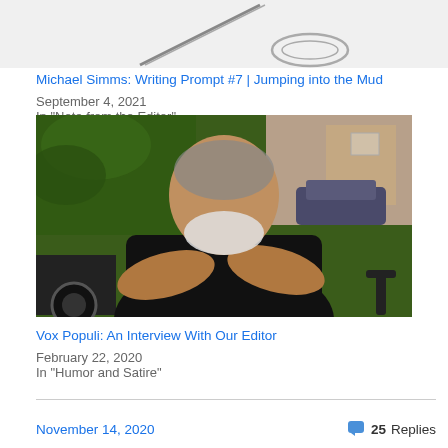[Figure (photo): Partial cropped image at top of page, showing what appears to be a writing instrument and partial car logo]
Michael Simms: Writing Prompt #7 | Jumping into the Mud
September 4, 2021
In "Note from the Editor"
[Figure (photo): Photo of a heavyset older man with white beard, wearing black t-shirt, arms crossed, standing outdoors with greenery and cars visible in background]
Vox Populi: An Interview With Our Editor
February 22, 2020
In "Humor and Satire"
November 14, 2020   25 Replies